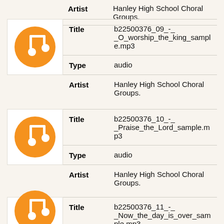Artist: Hanley High School Choral Groups.
[Figure (illustration): Orange circle music note icon]
| Field | Value |
| --- | --- |
| Title | b22500376_09_-_O_worship_the_king_sample.mp3 |
| Type | audio |
| Artist | Hanley High School Choral Groups. |
[Figure (illustration): Orange circle music note icon]
| Field | Value |
| --- | --- |
| Title | b22500376_10_-_Praise_the_Lord_sample.mp3 |
| Type | audio |
| Artist | Hanley High School Choral Groups. |
[Figure (illustration): Orange circle music note icon]
| Field | Value |
| --- | --- |
| Title | b22500376_11_-_Now_the_day_is_over_sample.mp3 |
| Type | audio |